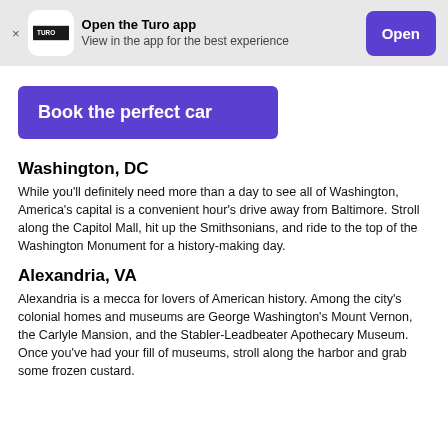[Figure (logo): Turo app banner with logo, text, and Open button]
Book the perfect car
Washington, DC
While you'll definitely need more than a day to see all of Washington, America's capital is a convenient hour's drive away from Baltimore. Stroll along the Capitol Mall, hit up the Smithsonians, and ride to the top of the Washington Monument for a history-making day.
Alexandria, VA
Alexandria is a mecca for lovers of American history. Among the city's colonial homes and museums are George Washington's Mount Vernon, the Carlyle Mansion, and the Stabler-Leadbeater Apothecary Museum. Once you've had your fill of museums, stroll along the harbor and grab some frozen custard.